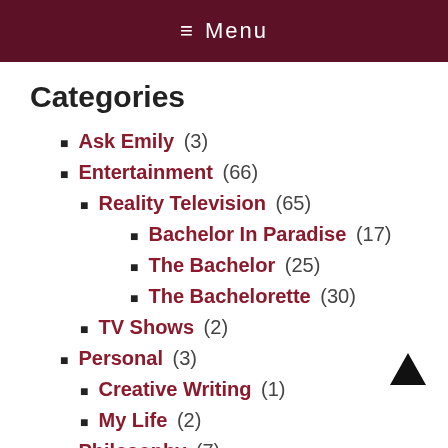≡ Menu
Categories
Ask Emily (3)
Entertainment (66)
Reality Television (65)
Bachelor In Paradise (17)
The Bachelor (25)
The Bachelorette (30)
TV Shows (2)
Personal (3)
Creative Writing (1)
My Life (2)
Philosophy (7)
Politics (1)